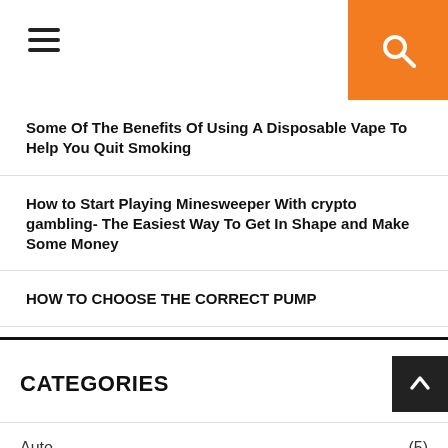Navigation header with hamburger menu and search button
Some Of The Benefits Of Using A Disposable Vape To Help You Quit Smoking
How to Start Playing Minesweeper With crypto gambling- The Easiest Way To Get In Shape and Make Some Money
HOW TO CHOOSE THE CORRECT PUMP
Things to Consider in Installing a Steam Shower at Home
Best Funfair Attractions, Stalls, and Sideshows
CATEGORIES
Auto (5)